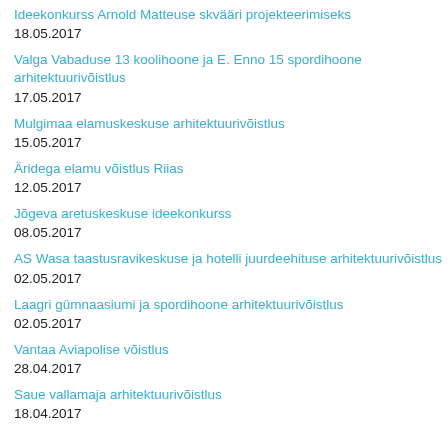Ideekonkurss Arnold Matteuse skvääri projekteerimiseks
18.05.2017
Valga Vabaduse 13 koolihoone ja E. Enno 15 spordihoone arhitektuurivõistlus
17.05.2017
Mulgimaa elamuskeskuse arhitektuurivõistlus
15.05.2017
Äridega elamu võistlus Riias
12.05.2017
Jõgeva aretuskeskuse ideekonkurss
08.05.2017
AS Wasa taastusravikeskuse ja hotelli juurdeehituse arhitektuurivõistlus
02.05.2017
Laagri gümnaasiumi ja spordihoone arhitektuurivõistlus
02.05.2017
Vantaa Aviapolise võistlus
28.04.2017
Saue vallamaja arhitektuurivõistlus
18.04.2017